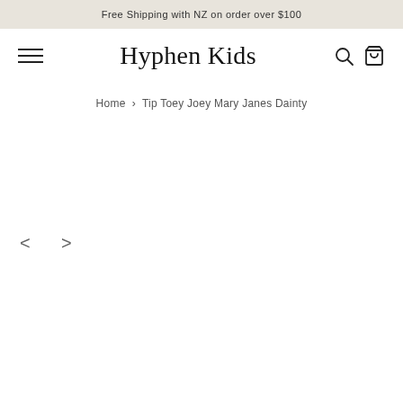Free Shipping with NZ on order over $100
Hyphen Kids
Home › Tip Toey Joey Mary Janes Dainty
[Figure (screenshot): Product image area with left and right navigation arrows for image carousel. The main product image area appears blank/white. Navigation arrows (< and >) are visible on the left side.]